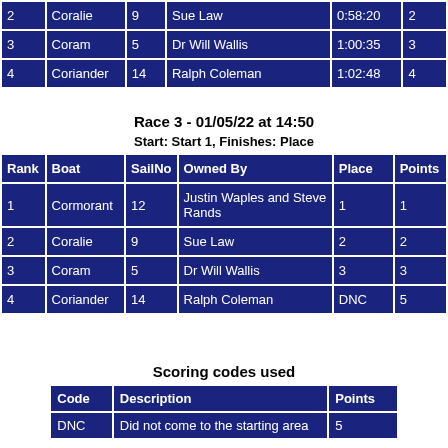| Rank | Boat | SailNo | Owned By | Place | Points |
| --- | --- | --- | --- | --- | --- |
| 2 | Coralie | 9 | Sue Law | 0:58:20 | 2 |
| 3 | Coram | 5 | Dr Will Wallis | 1:00:35 | 3 |
| 4 | Coriander | 14 | Ralph Coleman | 1:02:48 | 4 |
Race 3 - 01/05/22 at 14:50
Start: Start 1, Finishes: Place
| Rank | Boat | SailNo | Owned By | Place | Points |
| --- | --- | --- | --- | --- | --- |
| 1 | Cormorant | 12 | Justin Waples and Steve Rands | 1 | 1 |
| 2 | Coralie | 9 | Sue Law | 2 | 2 |
| 3 | Coram | 5 | Dr Will Wallis | 3 | 3 |
| 4 | Coriander | 14 | Ralph Coleman | DNC | 5 |
Scoring codes used
| Code | Description | Points |
| --- | --- | --- |
| DNC | Did not come to the starting area | 5 |